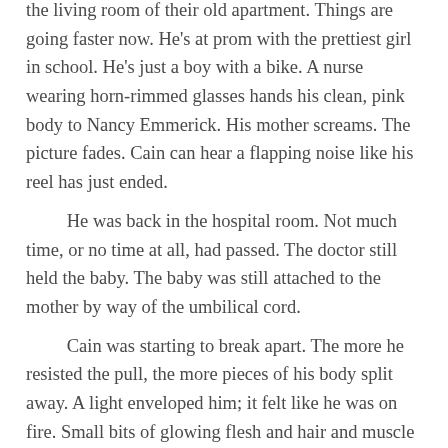the living room of their old apartment. Things are going faster now. He's at prom with the prettiest girl in school. He's just a boy with a bike. A nurse wearing horn-rimmed glasses hands his clean, pink body to Nancy Emmerick. His mother screams. The picture fades. Cain can hear a flapping noise like his reel has just ended.
	He was back in the hospital room. Not much time, or no time at all, had passed. The doctor still held the baby. The baby was still attached to the mother by way of the umbilical cord.
	Cain was starting to break apart. The more he resisted the pull, the more pieces of his body split away. A light enveloped him; it felt like he was on fire. Small bits of glowing flesh and hair and muscle tore off and shimmied into